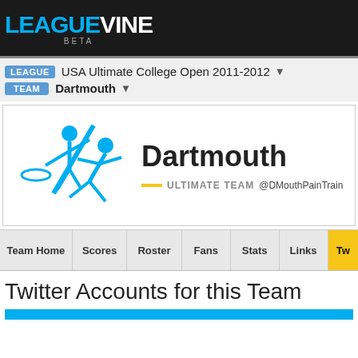LEAGUEVINE BETA
LEAGUE: USA Ultimate College Open 2011-2012
TEAM: Dartmouth
Dartmouth
— ULTIMATE TEAM  @DMouthPainTrain
Team Home | Scores | Roster | Fans | Stats | Links | Tw
Twitter Accounts for this Team